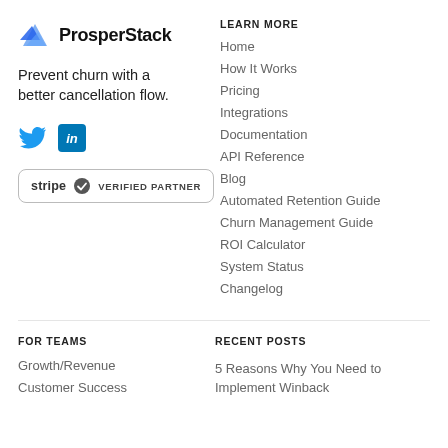ProsperStack
Prevent churn with a better cancellation flow.
[Figure (logo): Twitter bird icon in blue]
[Figure (logo): LinkedIn 'in' icon in blue box]
[Figure (logo): Stripe Verified Partner badge with checkmark]
LEARN MORE
Home
How It Works
Pricing
Integrations
Documentation
API Reference
Blog
Automated Retention Guide
Churn Management Guide
ROI Calculator
System Status
Changelog
FOR TEAMS
Growth/Revenue
Customer Success
RECENT POSTS
5 Reasons Why You Need to Implement Winback